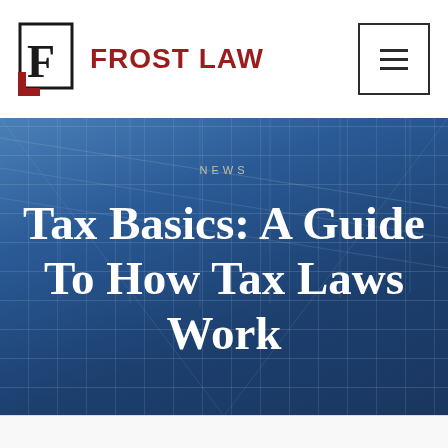FROST LAW
[Figure (photo): Blue-tinted overhead photo of a glass ceiling/grid structure used as hero background image]
NEWS
Tax Basics: A Guide To How Tax Laws Work